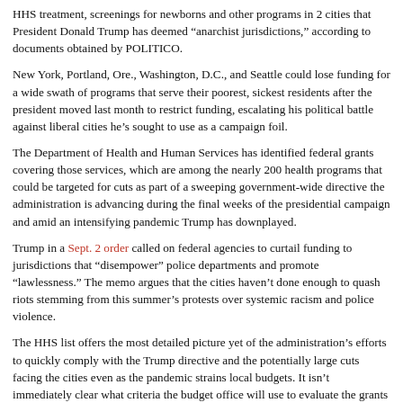HHS treatment, screenings for newborns and other programs in 2 cities that President Donald Trump has deemed “anarchist jurisdictions,” according to documents obtained by POLITICO.
New York, Portland, Ore., Washington, D.C., and Seattle could lose funding for a wide swath of programs that serve their poorest, sickest residents after the president moved last month to restrict funding, escalating his political battle against liberal cities he’s sought to use as a campaign foil.
The Department of Health and Human Services has identified federal grants covering those services, which are among the nearly 200 health programs that could be targeted for cuts as part of a sweeping government-wide directive the administration is advancing during the final weeks of the presidential campaign and amid an intensifying pandemic Trump has downplayed.
Trump in a Sept. 2 order called on federal agencies to curtail funding to jurisdictions that “disempower” police departments and promote “lawlessness.” The memo argues that the cities haven’t done enough to quash riots stemming from this summer’s protests over systemic racism and police violence.
The HHS list offers the most detailed picture yet of the administration’s efforts to quickly comply with the Trump directive and the potentially large cuts facing the cities even as the pandemic strains local budgets. It isn’t immediately clear what criteria the budget office will use to evaluate the grants — or how or when cuts will be made.